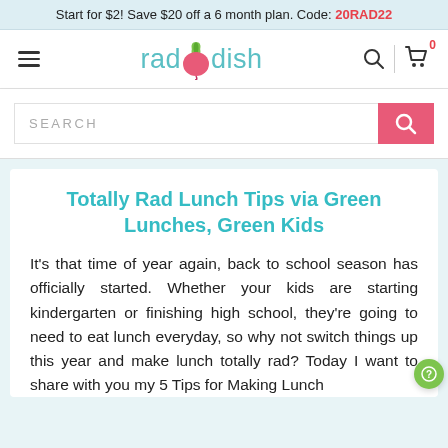Start for $2! Save $20 off a 6 month plan. Code: 20RAD22
[Figure (logo): Raddish kids cooking subscription logo — stylized radish with green leaves above, pink/red beet body, teal text 'raddish' with beet replacing the letter 'o']
SEARCH
Totally Rad Lunch Tips via Green Lunches, Green Kids
It's that time of year again, back to school season has officially started.  Whether your kids are starting kindergarten or finishing high school, they're going to need to eat lunch everyday, so why not switch things up this year and make lunch totally rad?  Today I want to share with you my 5 Tips for Making Lunch